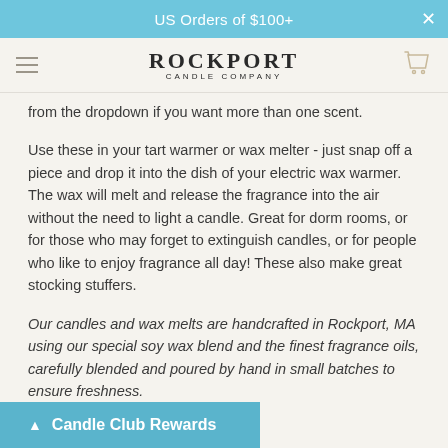US Orders of $100+
[Figure (logo): Rockport Candle Company logo with hamburger menu icon on left and cart icon on right]
from the dropdown if you want more than one scent.
Use these in your tart warmer or wax melter - just snap off a piece and drop it into the dish of your electric wax warmer. The wax will melt and release the fragrance into the air without the need to light a candle. Great for dorm rooms, or for those who may forget to extinguish candles, or for people who like to enjoy fragrance all day! These also make great stocking stuffers.
Our candles and wax melts are handcrafted in Rockport, MA using our special soy wax blend and the finest fragrance oils, carefully blended and poured by hand in small batches to ensure freshness.
Candle Club Rewards